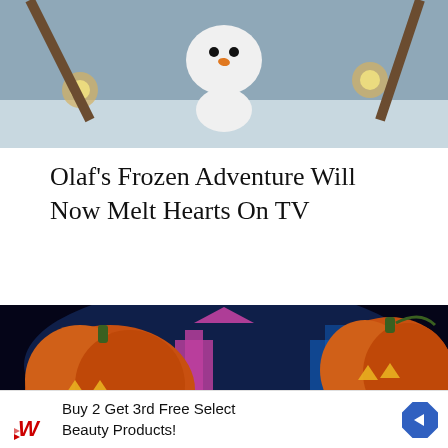[Figure (photo): Top portion of an image showing Olaf the snowman character from Frozen, with a snowy wintry scene and glowing lights in the background.]
Olaf's Frozen Adventure Will Now Melt Hearts On TV
[Figure (photo): Nighttime Halloween scene at a Disney theme park showing two large glowing jack-o'-lanterns in the foreground with a pink illuminated castle and blue-lit buildings in the background.]
Buy 2 Get 3rd Free Select Beauty Products!